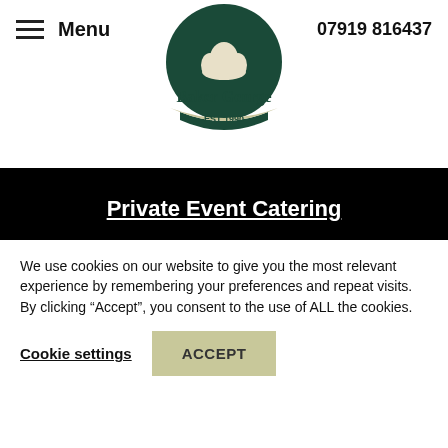Menu | Baker George | EST 1990 | 07919 816437
Private Event Catering
Corporate Catering
Outside Catering
Mobile Event Catering
We use cookies on our website to give you the most relevant experience by remembering your preferences and repeat visits. By clicking “Accept”, you consent to the use of ALL the cookies.
Cookie settings | ACCEPT